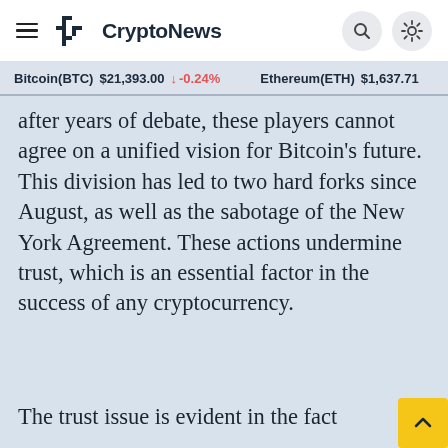CryptoNews
Bitcoin(BTC) $21,393.00 ↓ -0.24%   Ethereum(ETH) $1,637.71
after years of debate, these players cannot agree on a unified vision for Bitcoin's future. This division has led to two hard forks since August, as well as the sabotage of the New York Agreement. These actions undermine trust, which is an essential factor in the success of any cryptocurrency.
The trust issue is evident in the fact